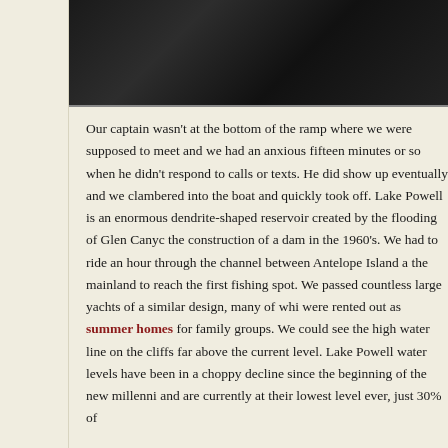[Figure (photo): Dark photograph, mostly black/dark tones, likely a nighttime or dark interior scene]
Our captain wasn't at the bottom of the ramp where we were supposed to meet and we had an anxious fifteen minutes or so when he didn't respond to calls or texts. He did show up eventually and we clambered into the boat and quickly took off. Lake Powell is an enormous dendrite-shaped reservoir created by the flooding of Glen Canyon by the construction of a dam in the 1960's. We had to ride an hour through the channel between Antelope Island and the mainland to reach the first fishing spot. We passed countless large yachts of a similar design, many of which were rented out as summer homes for family groups. We could see the high water line on the cliffs far above the current level. Lake Powell water levels have been in a choppy decline since the beginning of the new millenni and are currently at their lowest level ever, just 30% of